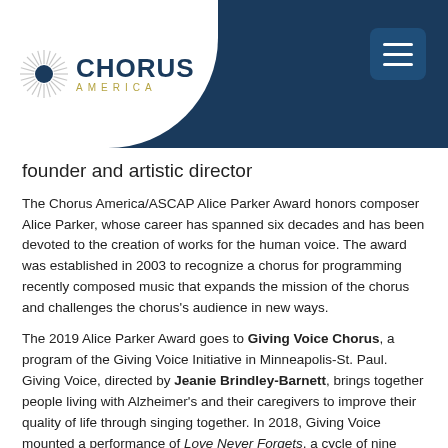[Figure (logo): Chorus America logo with sunburst icon, 'CHORUS' in dark blue bold text, 'AMERICA' in gold spaced letters, on white background within curved header bar]
Chorus America navigation header with dark blue background and hamburger menu button
founder and artistic director
The Chorus America/ASCAP Alice Parker Award honors composer Alice Parker, whose career has spanned six decades and has been devoted to the creation of works for the human voice. The award was established in 2003 to recognize a chorus for programming recently composed music that expands the mission of the chorus and challenges the chorus's audience in new ways.
The 2019 Alice Parker Award goes to Giving Voice Chorus, a program of the Giving Voice Initiative in Minneapolis-St. Paul. Giving Voice, directed by Jeanie Brindley-Barnett, brings together people living with Alzheimer's and their caregivers to improve their quality of life through singing together. In 2018, Giving Voice mounted a performance of Love Never Forgets, a cycle of nine songs illuminating the experience of living with Alzheimer's and dementia.